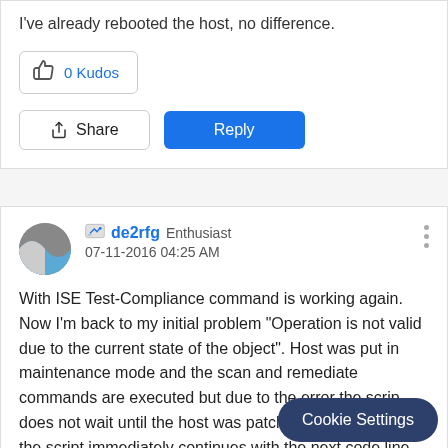I've already rebooted the host, no difference.
0 Kudos
Share
Reply
de2rfg  Enthusiast  07-11-2016 04:25 AM
With ISE Test-Compliance command is working again. Now I'm back to my initial problem "Operation is not valid due to the current state of the object". Host was put in maintenance mode and the scan and remediate commands are executed but due to the error the scrip does not wait until the host was patched and rebooted, the script immediately continues with the next code line and the host lea and VM's a also restarted
Cookie Settings